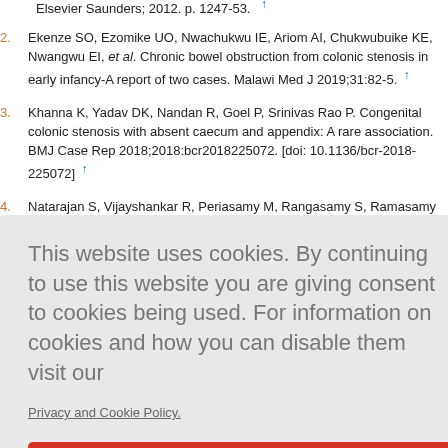Ekenze SO, Ezomike UO, Nwachukwu IE, Ariom AI, Chukwubuike KE, Nwangwu EI, et al. Chronic bowel obstruction from colonic stenosis in early infancy-A report of two cases. Malawi Med J 2019;31:82-5.
Khanna K, Yadav DK, Nandan R, Goel P, Srinivas Rao P. Congenital colonic stenosis with absent caecum and appendix: A rare association. BMJ Case Rep 2018;2018:bcr2018225072. [doi: 10.1136/bcr-2018-225072]
Natarajan S, Vijayshankar R, Periasamy M, Rangasamy S, Ramasamy R. Delayed presentation of congenital colonic stenosis. J
This website uses cookies. By continuing to use this website you are giving consent to cookies being used. For information on cookies and how you can disable them visit our
Privacy and Cookie Policy.
AGREE & PROCEED